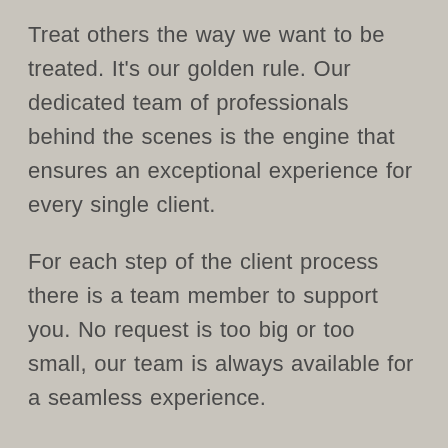Treat others the way we want to be treated. It's our golden rule. Our dedicated team of professionals behind the scenes is the engine that ensures an exceptional experience for every single client.
For each step of the client process there is a team member to support you. No request is too big or too small, our team is always available for a seamless experience.